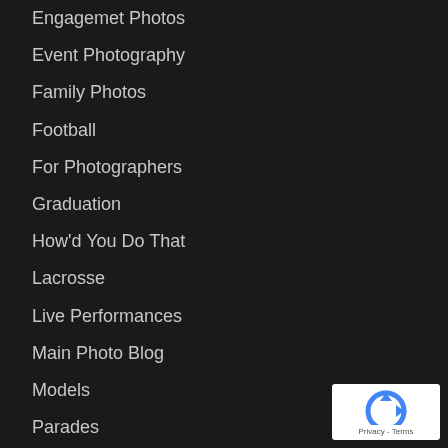Engagemet Photos
Event Photography
Family Photos
Football
For Photographers
Graduation
How'd You Do That
Lacrosse
Live Performances
Main Photo Blog
Models
Parades
Pep Band
Photo Booth
Portraits
Product Photography
Senior Photos
[Figure (logo): Google reCAPTCHA badge with recycling-arrow icon and Privacy - Terms text]